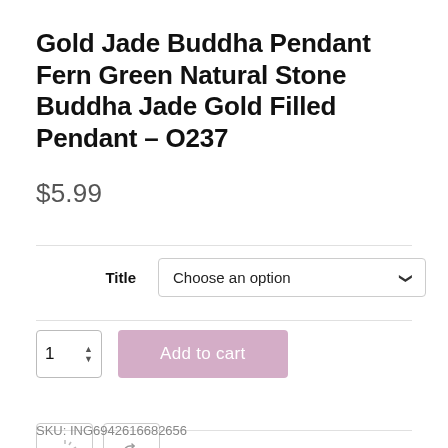Gold Jade Buddha Pendant Fern Green Natural Stone Buddha Jade Gold Filled Pendant – O237
$5.99
Title  Choose an option
1  Add to cart
SKU: ING6942616682656